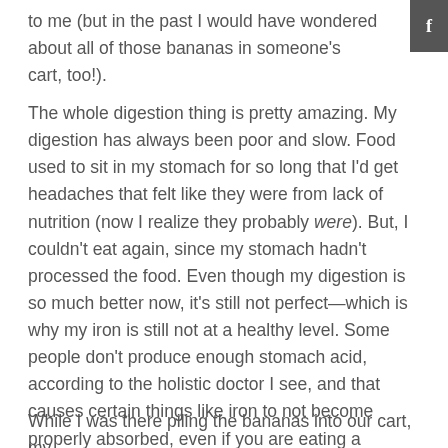to me (but in the past I would have wondered about all of those bananas in someone's cart, too!).
The whole digestion thing is pretty amazing. My digestion has always been poor and slow. Food used to sit in my stomach for so long that I'd get headaches that felt like they were from lack of nutrition (now I realize they probably were). But, I couldn't eat again, since my stomach hadn't processed the food. Even though my digestion is so much better now, it's still not perfect—which is why my iron is still not at a healthy level. Some people don't produce enough stomach acid, according to the holistic doctor I see, and that causes certain things like iron to not become properly absorbed, even if you are eating a balanced diet. I know that the longer I eat raw foods, the healthier I'll get and my body will be able to absorb iron and work efficiently.
While I was there piling the bananas into our cart, my